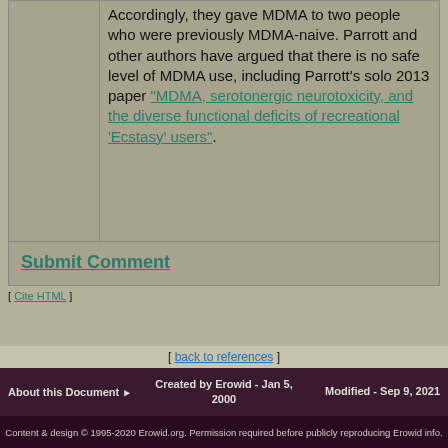Accordingly, they gave MDMA to two people who were previously MDMA-naive. Parrott and other authors have argued that there is no safe level of MDMA use, including Parrott's solo 2013 paper "MDMA, serotonergic neurotoxicity, and the diverse functional deficits of recreational 'Ecstasy' users".
Submit Comment
[ Cite HTML ]
[ back to references ]
About this Document ▶   Created by Erowid - Jan 5, 2000   Modified - Sep 9, 2021
Content & design © 1995-2020 Erowid.org. Permission required before publicly reproducing Erowid info.